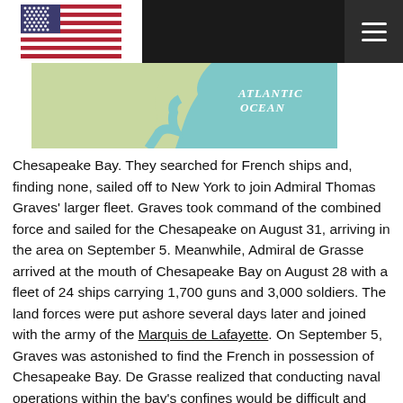[Navigation bar with US flag and menu icon]
[Figure (map): Partial map showing the Atlantic Ocean coastline area, with 'ATLANTIC OCEAN' labeled in italic text, depicting the mid-Atlantic coast region.]
Chesapeake Bay. They searched for French ships and, finding none, sailed off to New York to join Admiral Thomas Graves' larger fleet. Graves took command of the combined force and sailed for the Chesapeake on August 31, arriving in the area on September 5. Meanwhile, Admiral de Grasse arrived at the mouth of Chesapeake Bay on August 28 with a fleet of 24 ships carrying 1,700 guns and 3,000 soldiers. The land forces were put ashore several days later and joined with the army of the Marquis de Lafayette. On September 5, Graves was astonished to find the French in possession of Chesapeake Bay. De Grasse realized that conducting naval operations within the bay's confines would be difficult and sailed into the Atlantic waters off the Virginia coast. Most authorities agree that the inept Graves should have struck as the French fleet proceeded in single file into open waters; he did not, which allowed them to form a battle line. From one perspective, the